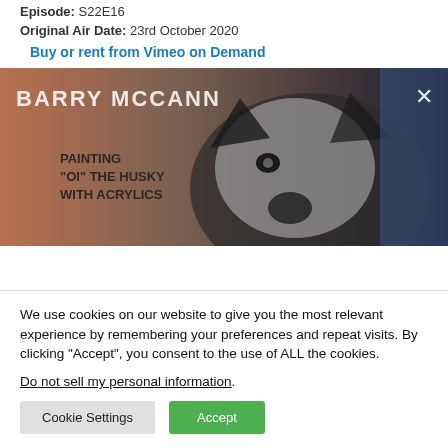Episode: S22E16
Original Air Date: 23rd October 2020
Buy or rent from Vimeo on Demand
[Figure (photo): Video thumbnail showing a husky dog painting titled 'Barry McCann – Painting OI the Husky with Acrylics', with a close-up of a husky dog face and an X close button in top right corner.]
We use cookies on our website to give you the most relevant experience by remembering your preferences and repeat visits. By clicking “Accept”, you consent to the use of ALL the cookies.
Do not sell my personal information.
Cookie Settings | Accept